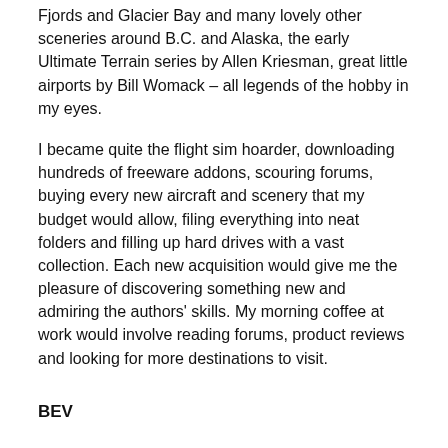Fjords and Glacier Bay and many lovely other sceneries around B.C. and Alaska, the early Ultimate Terrain series by Allen Kriesman, great little airports by Bill Womack – all legends of the hobby in my eyes.
I became quite the flight sim hoarder, downloading hundreds of freeware addons, scouring forums, buying every new aircraft and scenery that my budget would allow, filing everything into neat folders and filling up hard drives with a vast collection. Each new acquisition would give me the pleasure of discovering something new and admiring the authors' skills. My morning coffee at work would involve reading forums, product reviews and looking for more destinations to visit.
BEV
It was during this time of enjoying flight simming again that I stumbled upon a guy called Stephen Stever sharing some amazing new ground textures for FS9 on the Ultimate Terrain support forums. I commented on how great the screenshots looked. At the time he hinted it was a personal project and they